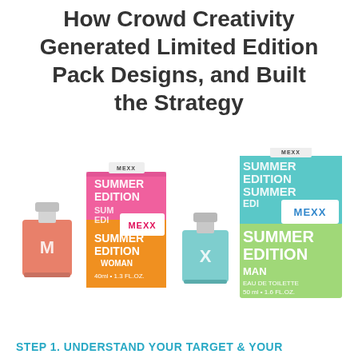How Crowd Creativity Generated Limited Edition Pack Designs, and Built the Strategy
[Figure (photo): Four Mexx Summer Edition fragrance products: a small pink/coral perfume bottle with M logo, a pink/orange Summer Edition Woman box (40ml 1.3 FL OZ), a small teal/mint perfume bottle with X logo, and a large green Summer Edition Man box (50ml 1.6 FL OZ).]
STEP 1. UNDERSTAND YOUR TARGET & YOUR